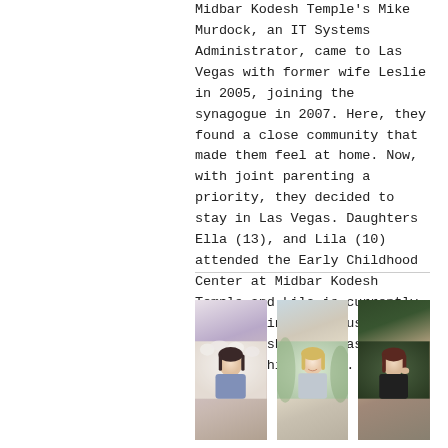Midbar Kodesh Temple's Mike Murdock, an IT Systems Administrator, came to Las Vegas with former wife Leslie in 2005, joining the synagogue in 2007. Here, they found a close community that made them feel at home. Now, with joint parenting a priority, they decided to stay in Las Vegas. Daughters Ella (13), and Lila (10) attended the Early Childhood Center at Midbar Kodesh Temple and Lila is currently enrolled in Religious School. Ella finished her last classes this summer. He
[Figure (photo): Three portrait photos of young women/girls side by side]